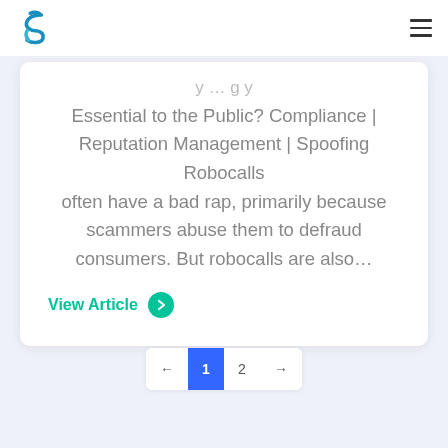[Figure (logo): Blue stylized S-shaped logo icon]
…Why Are Robocalls Essential to the Public? Compliance | Reputation Management | Spoofing Robocalls often have a bad rap, primarily because scammers abuse them to defraud consumers. But robocalls are also…
View Article →
← 1 2 →